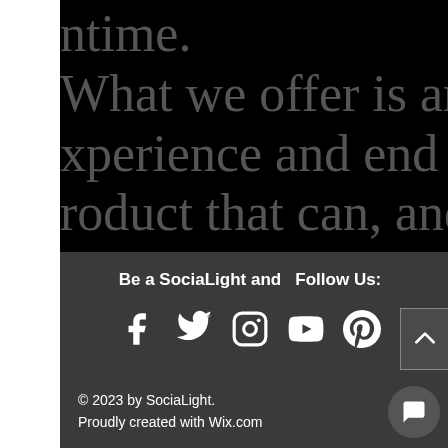ntime. What we offer is an experience and end product that can, and will be—watched hundreds of times, and a memory that lasts a lifetime.
Be a SociaLight and  Follow Us:
[Figure (other): Social media icons row: Facebook, Twitter, Instagram, YouTube, Pinterest]
[Figure (other): Scroll-to-top chevron button]
© 2023 by SociaLight.
Proudly created with Wix.com
[Figure (other): Chat/message bubble button]